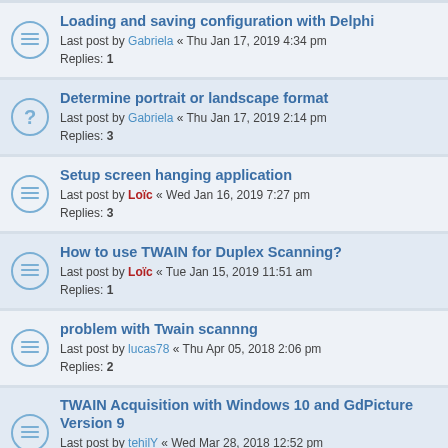Loading and saving configuration with Delphi
Last post by Gabriela « Thu Jan 17, 2019 4:34 pm
Replies: 1
Determine portrait or landscape format
Last post by Gabriela « Thu Jan 17, 2019 2:14 pm
Replies: 3
Setup screen hanging application
Last post by Loïc « Wed Jan 16, 2019 7:27 pm
Replies: 3
How to use TWAIN for Duplex Scanning?
Last post by Loïc « Tue Jan 15, 2019 11:51 am
Replies: 1
problem with Twain scannng
Last post by lucas78 « Thu Apr 05, 2018 2:06 pm
Replies: 2
TWAIN Acquisition with Windows 10 and GdPicture Version 9
Last post by tehilY « Wed Mar 28, 2018 12:52 pm
Replies: 4